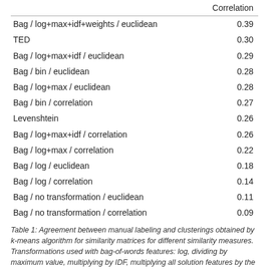|  | Correlation |
| --- | --- |
| Bag / log+max+idf+weights / euclidean | 0.39 |
| TED | 0.30 |
| Bag / log+max+idf / euclidean | 0.29 |
| Bag / bin / euclidean | 0.28 |
| Bag / log+max / euclidean | 0.28 |
| Bag / bin / correlation | 0.27 |
| Levenshtein | 0.26 |
| Bag / log+max+idf / correlation | 0.26 |
| Bag / log+max / correlation | 0.22 |
| Bag / log / euclidean | 0.18 |
| Bag / log / correlation | 0.14 |
| Bag / no transformation / euclidean | 0.11 |
| Bag / no transformation / correlation | 0.09 |
Table 1: Agreement between manual labeling and clusterings obtained by k-means algorithm for similarity matrices for different similarity measures. Transformations used with bag-of-words features: log, dividing by maximum value, multiplying by IDF, multiplying all solution features by the factor of 5.